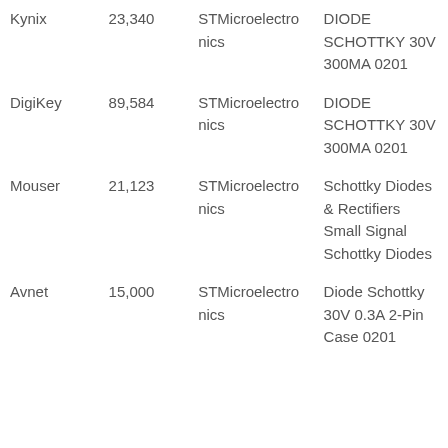| Kynix | 23,340 | STMicroelectronics | DIODE SCHOTTKY 30V 300MA 0201 |
| DigiKey | 89,584 | STMicroelectronics | DIODE SCHOTTKY 30V 300MA 0201 |
| Mouser | 21,123 | STMicroelectronics | Schottky Diodes & Rectifiers Small Signal Schottky Diodes |
| Avnet | 15,000 | STMicroelectronics | Diode Schottky 30V 0.3A 2-Pin Case 0201 |